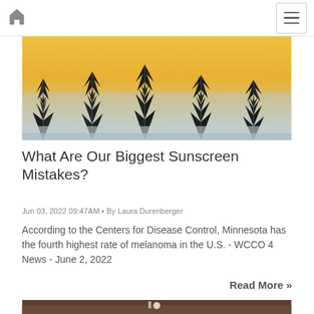Home | Menu
[Figure (photo): Silhouette of pine trees against a golden sunset sky]
What Are Our Biggest Sunscreen Mistakes?
Jun 03, 2022 09:47AM • By Laura Durenberger
According to the Centers for Disease Control, Minnesota has the fourth highest rate of melanoma in the U.S. - WCCO 4 News - June 2, 2022
Read More »
[Figure (photo): Partially visible image at bottom of page]